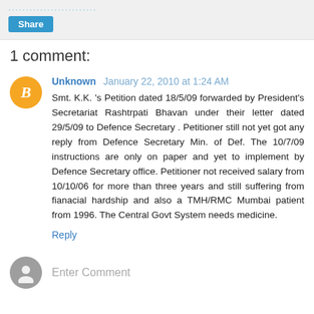Share
1 comment:
Unknown January 22, 2010 at 1:24 AM
Smt. K.K. 's Petition dated 18/5/09 forwarded by President's Secretariat Rashtrpati Bhavan under their letter dated 29/5/09 to Defence Secretary . Petitioner still not yet got any reply from Defence Secretary Min. of Def. The 10/7/09 instructions are only on paper and yet to implement by Defence Secretary office. Petitioner not received salary from 10/10/06 for more than three years and still suffering from fianacial hardship and also a TMH/RMC Mumbai patient from 1996. The Central Govt System needs medicine.
Reply
Enter Comment